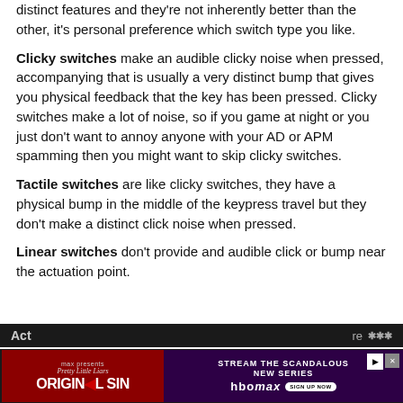distinct features and they're not inherently better than the other, it's personal preference which switch type you like.
Clicky switches make an audible clicky noise when pressed, accompanying that is usually a very distinct bump that gives you physical feedback that the key has been pressed. Clicky switches make a lot of noise, so if you game at night or you just don't want to annoy anyone with your AD or APM spamming then you might want to skip clicky switches.
Tactile switches are like clicky switches, they have a physical bump in the middle of the keypress travel but they don't make a distinct click noise when pressed.
Linear switches don't provide and audible click or bump near the actuation point.
[Figure (other): Advertisement banner at bottom: left side shows HBO Max 'Pretty Little Liars: Original Sin' ad on dark red background; right side shows 'Stream the Scandalous New Series' HBO Max ad on purple background with Sign Up Now button. Dark navigation bar below with partial text 'Act...' and '...re' with signal icon.]